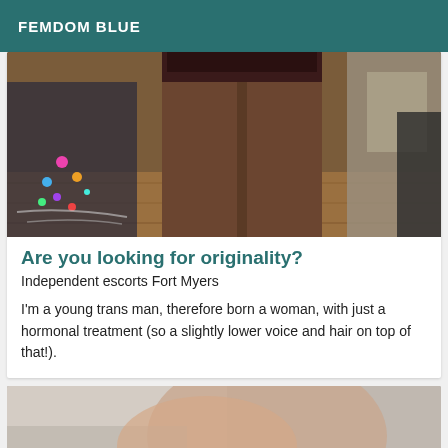FEMDOM BLUE
[Figure (photo): Close-up photo of legs from above, person standing on wooden floor with colorful lights visible on left side]
Are you looking for originality?
Independent escorts Fort Myers
I'm a young trans man, therefore born a woman, with just a hormonal treatment (so a slightly lower voice and hair on top of that!).
[Figure (photo): Partial photo, appears to show skin/body, cropped at bottom of page]